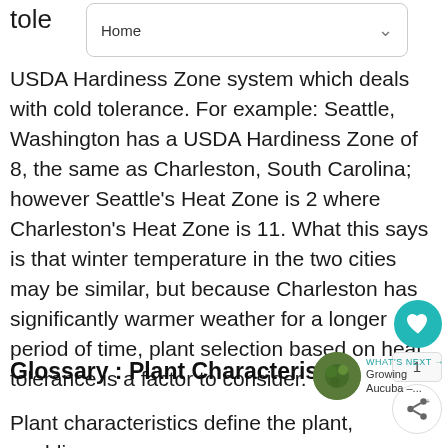Home
tole
USDA Hardiness Zone system which deals with cold tolerance. For example: Seattle, Washington has a USDA Hardiness Zone of 8, the same as Charleston, South Carolina; however Seattle's Heat Zone is 2 where Charleston's Heat Zone is 11. What this says is that winter temperature in the two cities may be similar, but because Charleston has significantly warmer weather for a longer period of time, plant selection based on heat tolerance is a factor to consider.
Glossary : Plant Characteristics
Plant characteristics define the plant, enabling